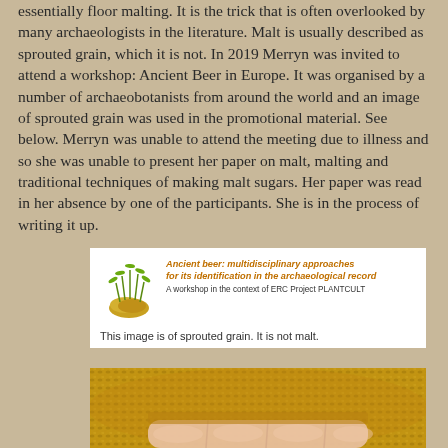essentially floor malting. It is the trick that is often overlooked by many archaeologists in the literature. Malt is usually described as sprouted grain, which it is not. In 2019 Merryn was invited to attend a workshop: Ancient Beer in Europe. It was organised by a number of archaeobotanists from around the world and an image of sprouted grain was used in the promotional material. See below. Merryn was unable to attend the meeting due to illness and so she was unable to present her paper on malt, malting and traditional techniques of making malt sugars. Her paper was read in her absence by one of the participants. She is in the process of writing it up.
[Figure (illustration): Workshop promotional card showing sprouted grain image with title 'Ancient beer: multidisciplinary approaches for its identification in the archaeological record. A workshop in the context of ERC Project PLANTCULT'. Caption below reads: This image is of sprouted grain. It is not malt.]
[Figure (photo): Close-up photograph of golden/amber malted grain with a hand's fingers visible at the bottom]